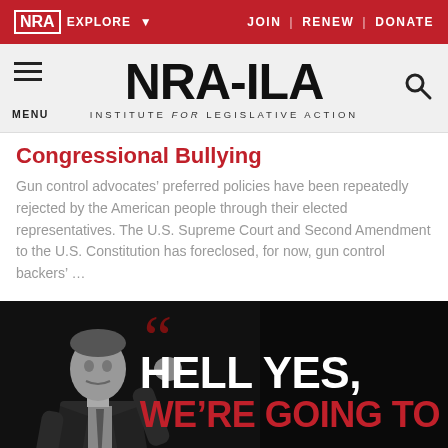NRA EXPLORE  JOIN | RENEW | DONATE
[Figure (logo): NRA-ILA Institute for Legislative Action logo with hamburger menu and search icon]
Congressional Bullying
Gun control advocates’ preferred policies have been repeatedly rejected by the American people through their elected representatives. The U.S. Supreme Court and Second Amendment to the U.S. Constitution has foreclosed, for now, gun control backers’ …
[Figure (photo): Black and white photo of a man in a suit gesturing with his fist raised, with text overlay reading HELL YES, WE'RE GOING TO in white and red on a dark background]